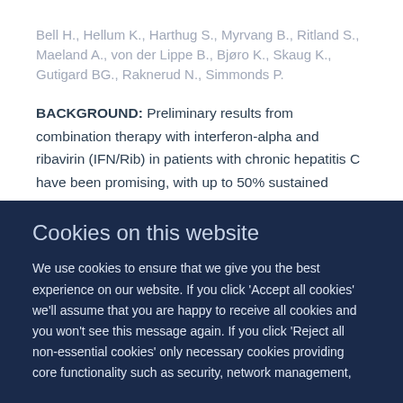Bell H., Hellum K., Harthug S., Myrvang B., Ritland S., Maeland A., von der Lippe B., Bjøro K., Skaug K., Gutigard BG., Raknerud N., Simmonds P.
BACKGROUND: Preliminary results from combination therapy with interferon-alpha and ribavirin (IFN/Rib) in patients with chronic hepatitis C have been promising, with up to 50% sustained hepatitis C virus (HCV) RNA response. The aim of this study was to investigate whether a sustained HCV RNA response could be obtained with combination therapy in
Cookies on this website
We use cookies to ensure that we give you the best experience on our website. If you click 'Accept all cookies' we'll assume that you are happy to receive all cookies and you won't see this message again. If you click 'Reject all non-essential cookies' only necessary cookies providing core functionality such as security, network management,